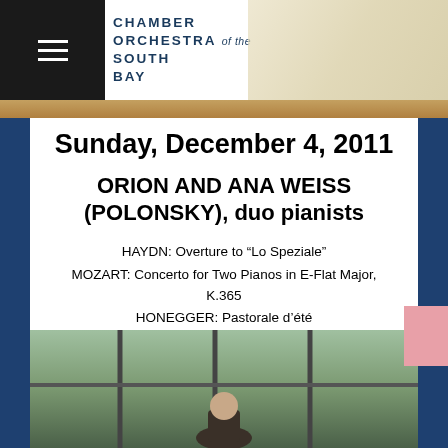Chamber Orchestra of the South Bay
Sunday, December 4, 2011
ORION AND ANA WEISS (POLONSKY), duo pianists
HAYDN: Overture to “Lo Speziale”
MOZART: Concerto for Two Pianos in E-Flat Major, K.365
HONEGGER: Pastorale d’été
SAINT-SAËNS: Carnival of the Animals
(with 2 Pianos and Narrator)
[Figure (photo): Photo of duo pianists Orion and Ana Weiss (Polonsky) seated at piano near large windows]